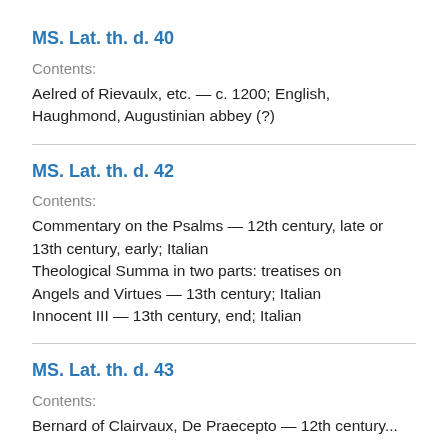MS. Lat. th. d. 40
Contents:
Aelred of Rievaulx, etc. — c. 1200; English, Haughmond, Augustinian abbey (?)
MS. Lat. th. d. 42
Contents:
Commentary on the Psalms — 12th century, late or 13th century, early; Italian
Theological Summa in two parts: treatises on Angels and Virtues — 13th century; Italian
Innocent III — 13th century, end; Italian
MS. Lat. th. d. 43
Contents:
Bernard of Clairvaux, De Praecepto — 12th century...